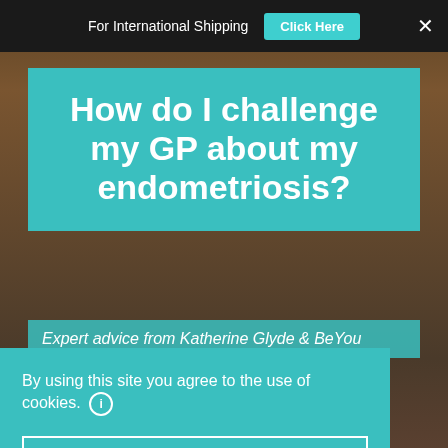For International Shipping   Click Here   ×
How do I challenge my GP about my endometriosis?
Expert advice from Katherine Glyde & BeYou
By using this site you agree to the use of cookies.
OK